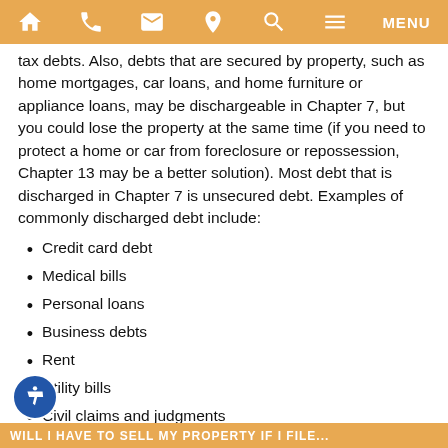Navigation bar with home, phone, email, location, search, menu icons
tax debts. Also, debts that are secured by property, such as home mortgages, car loans, and home furniture or appliance loans, may be dischargeable in Chapter 7, but you could lose the property at the same time (if you need to protect a home or car from foreclosure or repossession, Chapter 13 may be a better solution). Most debt that is discharged in Chapter 7 is unsecured debt. Examples of commonly discharged debt include:
Credit card debt
Medical bills
Personal loans
Business debts
Rent
Utility bills
Civil claims and judgments
Certain tax debts
Collection agency accounts
Bad checks